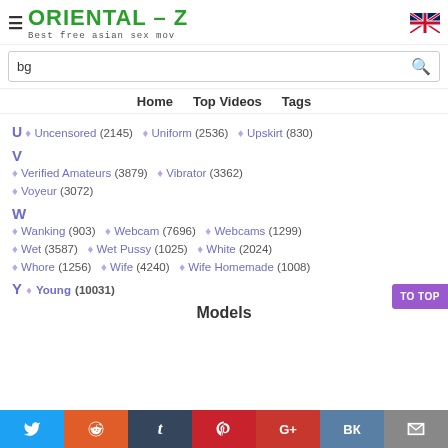ORIENTAL – Z | Best free asian sex mov
bg [search bar]
Home   Top Videos   Tags
U ♦ Uncensored (2145)  ♦ Uniform (2536)  ♦ Upskirt (830)
V
♦ Verified Amateurs (3879)  ♦ Vibrator (3362)
♦ Voyeur (3072)
W
♦ Wanking (903)  ♦ Webcam (7696)  ♦ Webcams (1299)
♦ Wet (3587)  ♦ Wet Pussy (1025)  ♦ White (2024)
♦ Whore (1256)  ♦ Wife (4240)  ♦ Wife Homemade (1008)
Y
♦ Young (10031)
Models
Twitter  Reddit  Tumblr  Pinterest  G+  VK  Mail